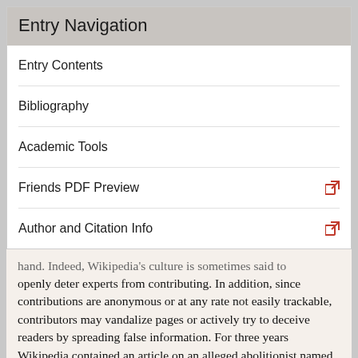Entry Navigation
Entry Contents
Bibliography
Academic Tools
Friends PDF Preview
Author and Citation Info
hand. Indeed, Wikipedia's culture is sometimes said to openly deter experts from contributing. In addition, since contributions are anonymous or at any rate not easily trackable, contributors may vandalize pages or actively try to deceive readers by spreading false information. For three years Wikipedia contained an article on an alleged abolitionist named “Léon-Robert de l’Astran” who in fact never existed. Other cases involve false, self-serving edits by corporations, politicians and government agencies. Thus there are reasons to be pessimistic about Wikipedia’s epistemic prospects. Fallis (2011) offers a more optimistic assessment. As he points out, to give a fair assessment of